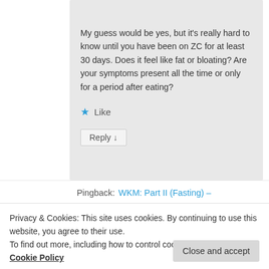My guess would be yes, but it's really hard to know until you have been on ZC for at least 30 days. Does it feel like fat or bloating? Are your symptoms present all the time or only for a period after eating?
★ Like
Reply ↓
Pingback: WKM: Part II (Fasting) –
Privacy & Cookies: This site uses cookies. By continuing to use this website, you agree to their use.
To find out more, including how to control cookies, see here: Cookie Policy
Close and accept
hhh hh on June 12, 2018 at 9:18 AM said: